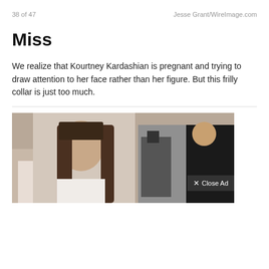38 of 47    Jesse Grant/WireImage.com
Miss
We realize that Kourtney Kardashian is pregnant and trying to draw attention to her face rather than her figure. But this frilly collar is just too much.
[Figure (photo): Photo of a woman with long brown hair in a white top, photographed outdoors with people in the background including a person with a camera and a person in a black fur coat. An ad overlay showing 'Close Ad' button is visible.]